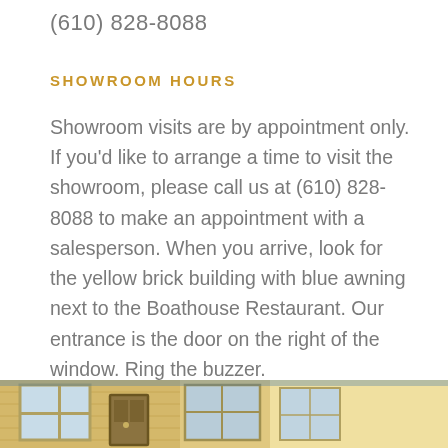(610) 828-8088
SHOWROOM HOURS
Showroom visits are by appointment only. If you'd like to arrange a time to visit the showroom, please call us at (610) 828-8088 to make an appointment with a salesperson. When you arrive, look for the yellow brick building with blue awning next to the Boathouse Restaurant. Our entrance is the door on the right of the window. Ring the buzzer.
[Figure (photo): Exterior photo of a yellow brick building with blue awning, showing windows and entrance door.]